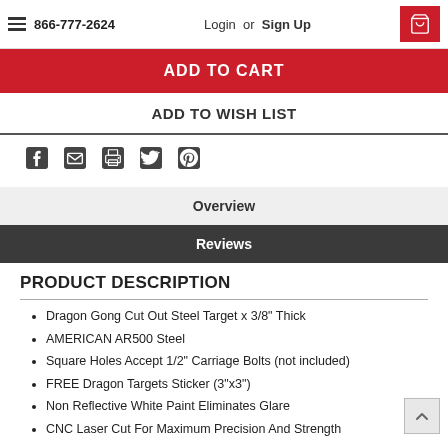866-777-2624  Login or  Sign Up
ADD TO CART
ADD TO WISH LIST
[Figure (infographic): Social share icons: Facebook, email, print, Twitter, Pinterest]
Overview
Reviews
PRODUCT DESCRIPTION
Dragon Gong Cut Out Steel Target x 3/8" Thick
AMERICAN AR500 Steel
Square Holes Accept 1/2" Carriage Bolts (not included)
FREE Dragon Targets Sticker (3"x3")
Non Reflective White Paint Eliminates Glare
CNC Laser Cut For Maximum Precision And Strength